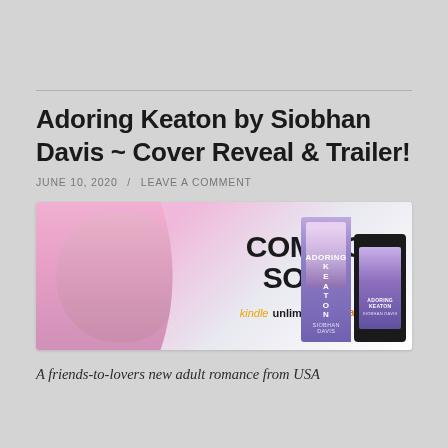Adoring Keaton by Siobhan Davis ~ Cover Reveal & Trailer!
JUNE 10, 2020 / LEAVE A COMMENT
[Figure (illustration): Promotional banner for the book 'Adoring Keaton' showing a tattooed shirtless man on the left, 'COMING SOON' text in the center, Kindle Unlimited and Amazon logos below, and book cover images (physical book and tablet) on the right.]
A friends-to-lovers new adult romance from USA